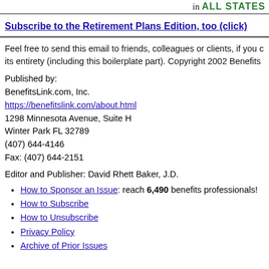in ALL STATES
Subscribe to the Retirement Plans Edition, too (click)
Feel free to send this email to friends, colleagues or clients, if you co its entirety (including this boilerplate part). Copyright 2002 Benefits
Published by:
BenefitsLink.com, Inc.
https://benefitslink.com/about.html
1298 Minnesota Avenue, Suite H
Winter Park FL 32789
(407) 644-4146
Fax: (407) 644-2151
Editor and Publisher: David Rhett Baker, J.D.
How to Sponsor an Issue: reach 6,490 benefits professionals!
How to Subscribe
How to Unsubscribe
Privacy Policy
Archive of Prior Issues